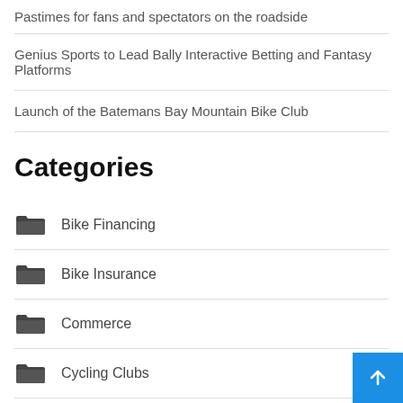Pastimes for fans and spectators on the roadside
Genius Sports to Lead Bally Interactive Betting and Fantasy Platforms
Launch of the Batemans Bay Mountain Bike Club
Categories
Bike Financing
Bike Insurance
Commerce
Cycling Clubs
Cycling Fans